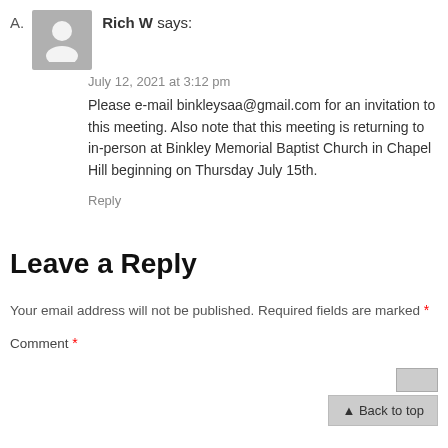A. Rich W says:
July 12, 2021 at 3:12 pm
Please e-mail binkleysaa@gmail.com for an invitation to this meeting. Also note that this meeting is returning to in-person at Binkley Memorial Baptist Church in Chapel Hill beginning on Thursday July 15th.
Reply
Leave a Reply
Your email address will not be published. Required fields are marked *
Comment *